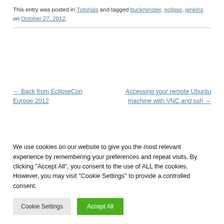This entry was posted in Tutorials and tagged buckminster, eclipse, jenkins on October 27, 2012.
← Back from EclipseCon Europe 2012
Accessing your remote Ubuntu machine with VNC and ssh →
We use cookies on our website to give you the most relevant experience by remembering your preferences and repeat visits. By clicking "Accept All", you consent to the use of ALL the cookies. However, you may visit "Cookie Settings" to provide a controlled consent.